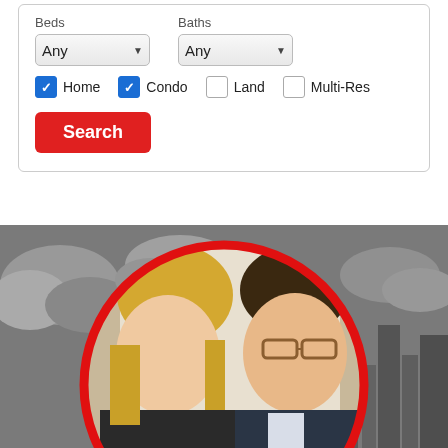Beds
Any
Baths
Any
Home
Condo
Land
Multi-Res
Search
[Figure (photo): Two people posing for a selfie — a blonde woman on the left and a man wearing glasses on the right — inside a red circle border, set against a grey cityscape background]